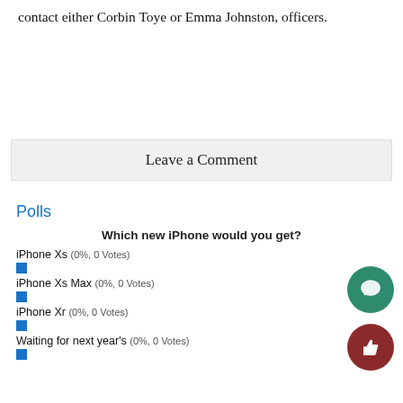contact either Corbin Toye or Emma Johnston, officers.
Leave a Comment
Polls
Which new iPhone would you get?
iPhone Xs (0%, 0 Votes)
iPhone Xs Max (0%, 0 Votes)
iPhone Xr (0%, 0 Votes)
Waiting for next year's (0%, 0 Votes)